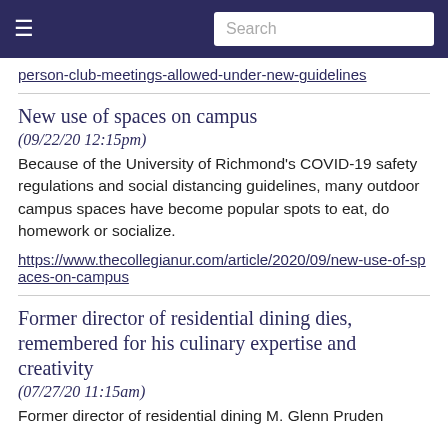Search
person-club-meetings-allowed-under-new-guidelines
New use of spaces on campus
(09/22/20 12:15pm)
Because of the University of Richmond's COVID-19 safety regulations and social distancing guidelines, many outdoor campus spaces have become popular spots to eat, do homework or socialize.
https://www.thecollegianur.com/article/2020/09/new-use-of-spaces-on-campus
Former director of residential dining dies, remembered for his culinary expertise and creativity
(07/27/20 11:15am)
Former director of residential dining M. Glenn Pruden